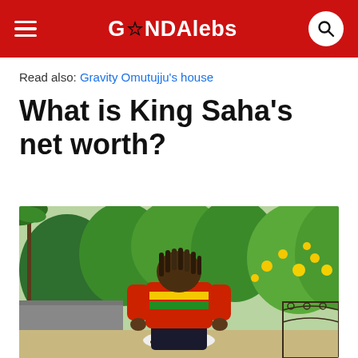GANDAlebs
Read also: Gravity Omutujju's house
What is King Saha's net worth?
[Figure (photo): A man with dreadlocks wearing a colorful red, yellow, and green striped hoodie sits outdoors in a lush garden with yellow flowers and green plants in the background. There is a cup on a small table in front of him and ornamental metalwork fencing to his right.]